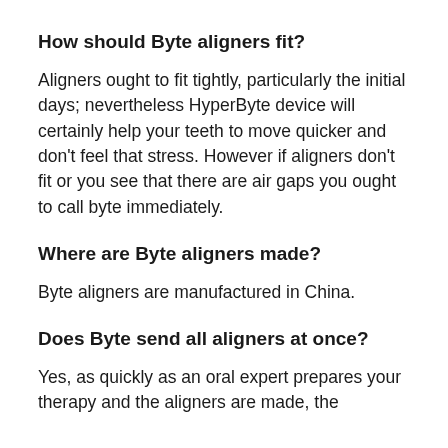How should Byte aligners fit?
Aligners ought to fit tightly, particularly the initial days; nevertheless HyperByte device will certainly help your teeth to move quicker and don't feel that stress. However if aligners don't fit or you see that there are air gaps you ought to call byte immediately.
Where are Byte aligners made?
Byte aligners are manufactured in China.
Does Byte send all aligners at once?
Yes, as quickly as an oral expert prepares your therapy and the aligners are made, the